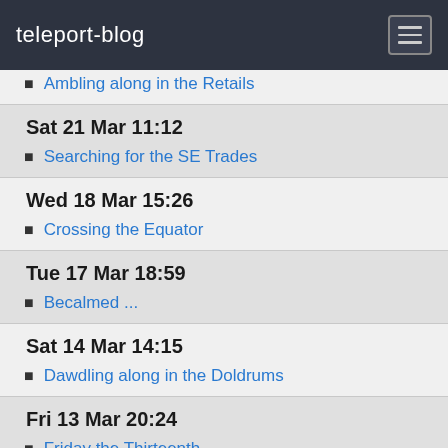teleport-blog
Ambling along in the Retails
Sat 21 Mar 11:12
Searching for the SE Trades
Wed 18 Mar 15:26
Crossing the Equator
Tue 17 Mar 18:59
Becalmed ...
Sat 14 Mar 14:15
Dawdling along in the Doldrums
Fri 13 Mar 20:24
Friday the Thirteenth
Wed 11 Mar 11:46
It's a Big Ocean
Tue 10 Mar 13:54
Baia dos Ferreiros, Brava and onwards
Thu 5 Mar 22:59